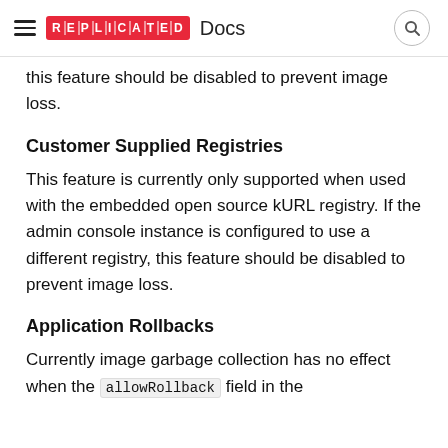REPLICATED Docs
...gery...y ... ...p ... this feature should be disabled to prevent image loss.
Customer Supplied Registries
This feature is currently only supported when used with the embedded open source kURL registry. If the admin console instance is configured to use a different registry, this feature should be disabled to prevent image loss.
Application Rollbacks
Currently image garbage collection has no effect when the allowRollback field in the...